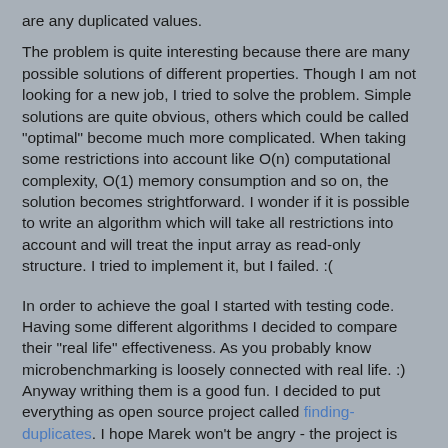are any duplicated values.
The problem is quite interesting because there are many possible solutions of different properties. Though I am not looking for a new job, I tried to solve the problem. Simple solutions are quite obvious, others which could be called "optimal" become much more complicated. When taking some restrictions into account like O(n) computational complexity, O(1) memory consumption and so on, the solution becomes strightforward. I wonder if it is possible to write an algorithm which will take all restrictions into account and will treat the input array as read-only structure. I tried to implement it, but I failed. :(
In order to achieve the goal I started with testing code. Having some different algorithms I decided to compare their "real life" effectiveness. As you probably know microbenchmarking is loosely connected with real life. :) Anyway writhing them is a good fun. I decided to put everything as open source project called finding-duplicates. I hope Marek won't be angry - the project is spoiling his offer. :) The task was posted some time ago, I hope he has employed someone already. I am quite surprised by the